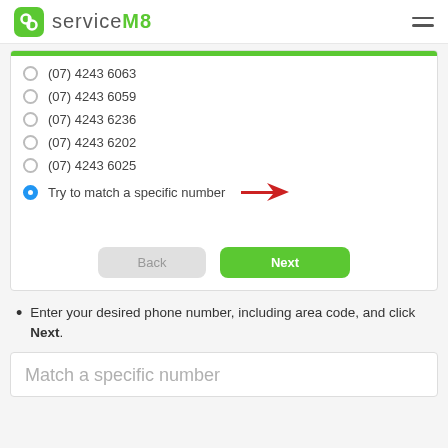ServiceM8
[Figure (screenshot): ServiceM8 phone number selection screen showing radio button list with phone numbers (07) 4243 6063, (07) 4243 6059, (07) 4243 6236, (07) 4243 6202, (07) 4243 6025, and 'Try to match a specific number' selected with a red arrow pointing to it. Back and Next buttons at the bottom.]
Enter your desired phone number, including area code, and click Next.
Match a specific number